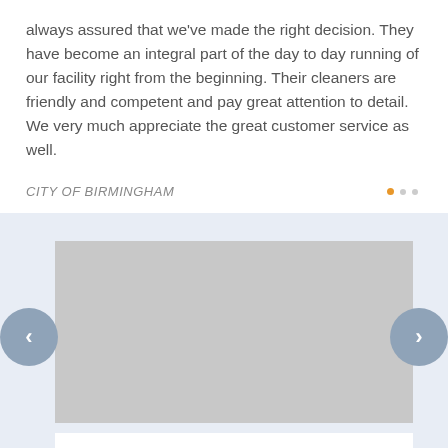always assured that we've made the right decision. They have become an integral part of the day to day running of our facility right from the beginning. Their cleaners are friendly and competent and pay great attention to detail. We very much appreciate the great customer service as well.
CITY OF BIRMINGHAM
[Figure (photo): Image carousel with navigation arrows on left and right sides, showing a gray placeholder image area against a light blue background, with a white bar at the bottom.]